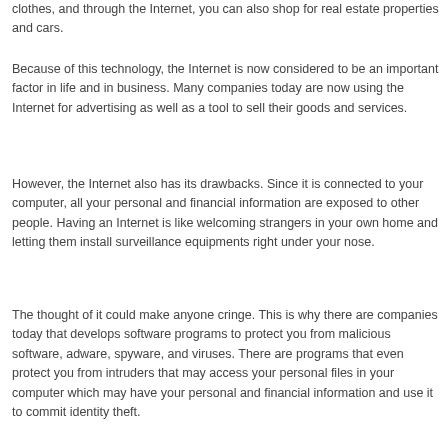clothes, and through the Internet, you can also shop for real estate properties and cars.
Because of this technology, the Internet is now considered to be an important factor in life and in business. Many companies today are now using the Internet for advertising as well as a tool to sell their goods and services.
However, the Internet also has its drawbacks. Since it is connected to your computer, all your personal and financial information are exposed to other people. Having an Internet is like welcoming strangers in your own home and letting them install surveillance equipments right under your nose.
The thought of it could make anyone cringe. This is why there are companies today that develops software programs to protect you from malicious software, adware, spyware, and viruses. There are programs that even protect you from intruders that may access your personal files in your computer which may have your personal and financial information and use it to commit identity theft.